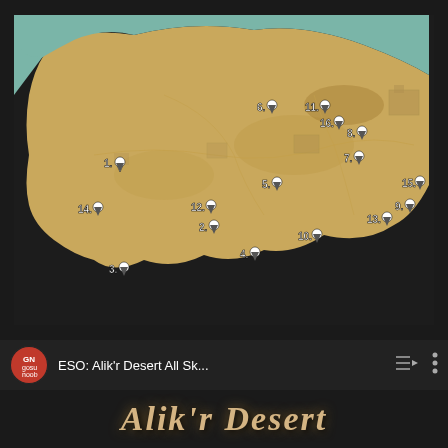[Figure (map): ESO Alik'r Desert map with numbered skill point markers (1-16) shown as white downward arrow icons with numbers, overlaid on a parchment-colored game map with teal coastal water areas]
ESO: Alik'r Desert All Sk...
Alik'r Desert